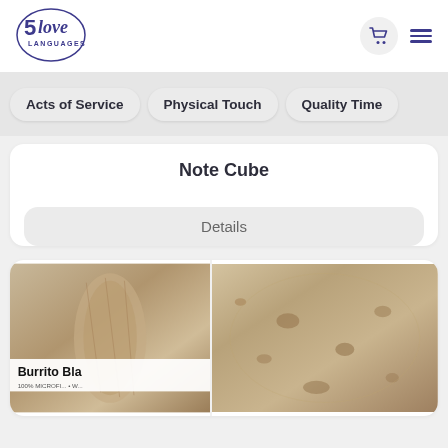[Figure (logo): 5 Love Languages logo in purple cursive with circle border]
Acts of Service
Physical Touch
Quality Time
Note Cube
Details
[Figure (photo): Two photos of a Burrito Blanket product: left shows rolled burrito blanket with label reading 'Burrito Bla... 100% MICROFI...' right shows the blanket unrolled resembling a tortilla]